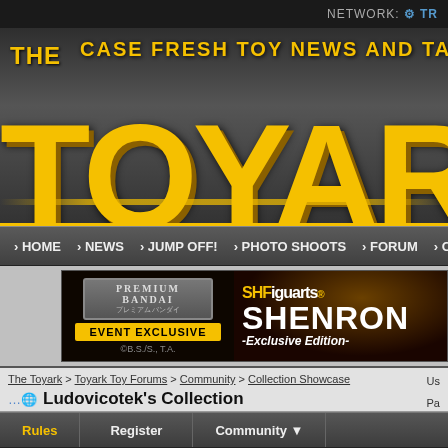NETWORK: TR
[Figure (logo): The Toyark logo banner with yellow text on dark background, tagline: CASE FRESH TOY NEWS AND TALK]
› HOME › NEWS › JUMP OFF! › PHOTO SHOOTS › FORUM › COMPANY
[Figure (screenshot): SHFiguarts Shenron Exclusive Edition advertisement banner by Premium Bandai, Event Exclusive]
The Toyark > Toyark Toy Forums > Community > Collection Showcase
Ludovicotek's Collection
Rules | Register | Community
POST REPLY